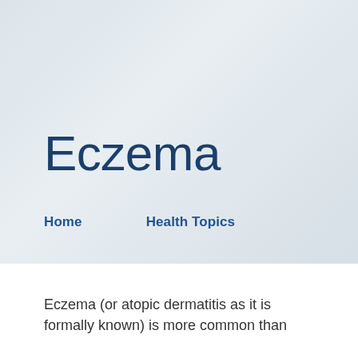Eczema
Home    Health Topics
Eczema (or atopic dermatitis as it is formally known) is more common than